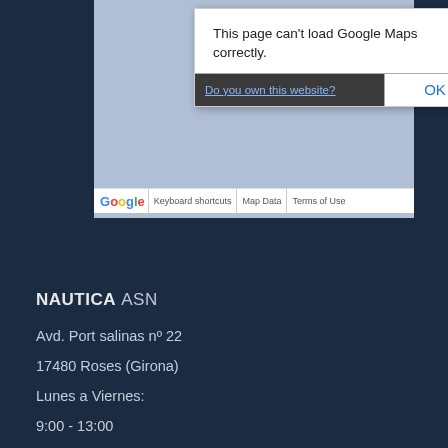[Figure (screenshot): Google Maps error dialog saying 'This page can't load Google Maps correctly.' with a 'Do you own this website?' link and an OK button, overlaid on a map background. Below shows the Google logo bar with Keyboard shortcuts, Map Data, and Terms of Use links.]
NAUTICA ASN
Avd. Port salinas nº 22
17480 Roses (Girona)
Lunes a Viernes:
9:00 - 13:00
16:00 - 19:00